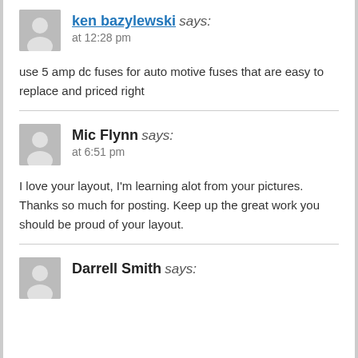ken bazylewski says: at 12:28 pm
use 5 amp dc fuses for auto motive fuses that are easy to replace and priced right
Mic Flynn says: at 6:51 pm
I love your layout, I'm learning alot from your pictures. Thanks so much for posting. Keep up the great work you should be proud of your layout.
Darrell Smith says: